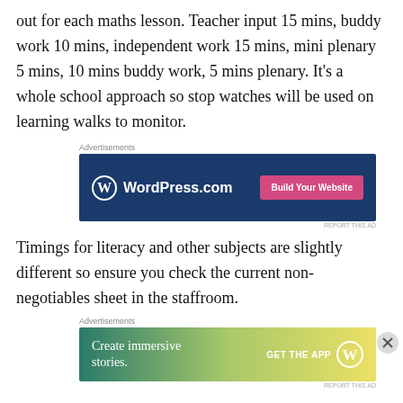out for each maths lesson. Teacher input 15 mins, buddy work 10 mins, independent work 15 mins, mini plenary 5 mins, 10 mins buddy work, 5 mins plenary. It's a whole school approach so stop watches will be used on learning walks to monitor.
[Figure (screenshot): WordPress.com advertisement banner with blue background, WordPress logo, and 'Build Your Website' pink button]
Timings for literacy and other subjects are slightly different so ensure you check the current non-negotiables sheet in the staffroom.
[Figure (screenshot): WordPress.com advertisement banner with green-yellow gradient, 'Create immersive stories.' text, 'GET THE APP' button, and WordPress logo]